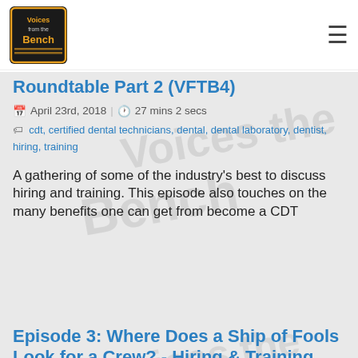Voices from the Bench
Roundtable Part 2 (VFTB4)
April 23rd, 2018 | 27 mins 2 secs
cdt, certified dental technicians, dental, dental laboratory, dentist, hiring, training
A gathering of some of the industry's best to discuss hiring and training. This episode also touches on the many benefits one can get from become a CDT
Episode 3: Where Does a Ship of Fools Look for a Crew? - Hiring & Training Roundtable Part 1 (VFTB3)
April 16th, 2018 | 28 mins 27 secs
dental, dental laboratory, dentist, hiring, training